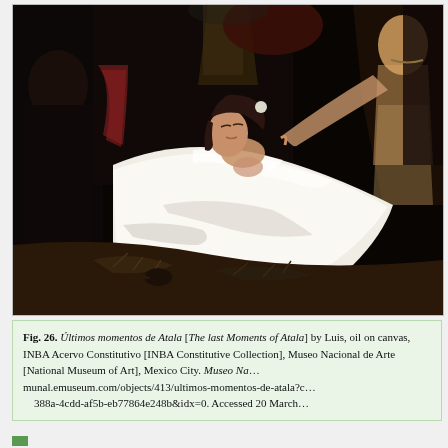[Figure (photo): Oil painting showing a reclining woman in white draped cloth, appearing ill or dying, surrounded by dark-robed and lightly-clothed figures against a dark background with foliage. Romantic-era academic painting style.]
Fig. 26. Últimos momentos de Atala [The last Moments of Atala] by Luis, oil on canvas, INBA Acervo Constitutivo [INBA Constitutive Collection], Museo Nacional de Arte [National Museum of Art], Mexico City. Museo Na... munal.emuseum.com/objects/413/ultimos-momentos-de-atala?c... 388a-4cdd-af5b-eb77864e248b&idx=0. Accessed 20 March...